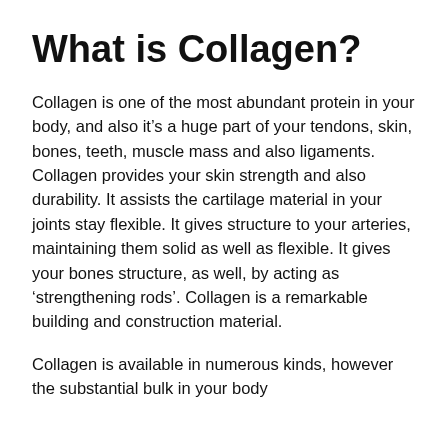What is Collagen?
Collagen is one of the most abundant protein in your body, and also it’s a huge part of your tendons, skin, bones, teeth, muscle mass and also ligaments. Collagen provides your skin strength and also durability. It assists the cartilage material in your joints stay flexible. It gives structure to your arteries, maintaining them solid as well as flexible. It gives your bones structure, as well, by acting as ‘strengthening rods’. Collagen is a remarkable building and construction material.
Collagen is available in numerous kinds, however the substantial bulk in your body are types I, II as well as III.